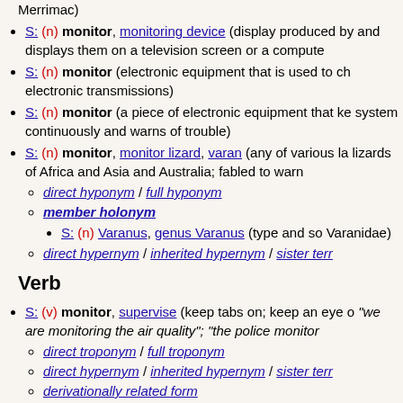S: (n) monitor, monitoring device (display produced by and displays them on a television screen or a computer)
S: (n) monitor (electronic equipment that is used to check electronic transmissions)
S: (n) monitor (a piece of electronic equipment that keeps system continuously and warns of trouble)
S: (n) monitor, monitor lizard, varan (any of various large lizards of Africa and Asia and Australia; fabled to warn of crocodiles)
direct hyponym / full hyponym
member holonym
S: (n) Varanus, genus Varanus (type and sole genus of Varanidae)
direct hypernym / inherited hypernym / sister term
Verb
S: (v) monitor, supervise (keep tabs on; keep an eye on) "we are monitoring the air quality"; "the police monitor"
direct troponym / full troponym
direct hypernym / inherited hypernym / sister term
derivationally related form
sentence frame
S: (v) monitor (check, track, or observe by means of a)